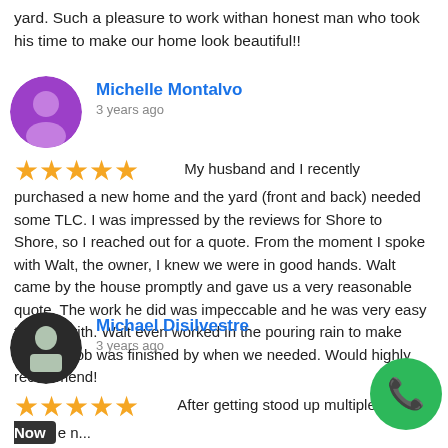yard. Such a pleasure to work withan honest man who took his time to make our home look beautiful!!
Michelle Montalvo
3 years ago
★★★★★ My husband and I recently purchased a new home and the yard (front and back) needed some TLC. I was impressed by the reviews for Shore to Shore, so I reached out for a quote. From the moment I spoke with Walt, the owner, I knew we were in good hands. Walt came by the house promptly and gave us a very reasonable quote. The work he did was impeccable and he was very easy to work with. Walt even worked in the pouring rain to make sure the job was finished by when we needed. Would highly recommend!
Michael Disilvestre
3 years ago
★★★★★ After getting stood up multiple times from another landscaper Walt was able to come n... quote and get the job done at a reasonable price. Highly recommend.